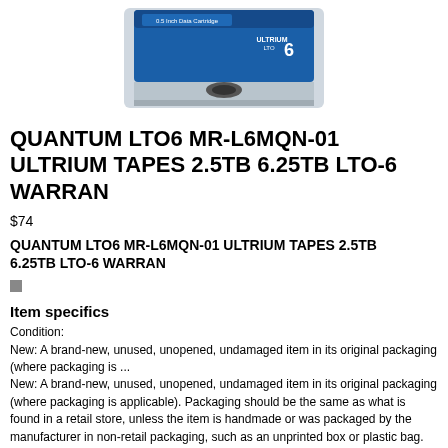[Figure (photo): Product photo of Quantum LTO6 Ultrium 6 data cartridge tape in blue packaging]
QUANTUM LTO6 MR-L6MQN-01 ULTRIUM TAPES 2.5TB 6.25TB LTO-6 WARRAN
$74
QUANTUM LTO6 MR-L6MQN-01 ULTRIUM TAPES 2.5TB 6.25TB LTO-6 WARRAN
[Figure (other): Small gray rating/star icon]
Item specifics
Condition:
New: A brand-new, unused, unopened, undamaged item in its original packaging (where packaging is ...
New: A brand-new, unused, unopened, undamaged item in its original packaging (where packaging is applicable). Packaging should be the same as what is found in a retail store, unless the item is handmade or was packaged by the manufacturer in non-retail packaging, such as an unprinted box or plastic bag. See the seller's listing for full details.
Type:
LTO6
Brand:
Quantum
MPN:
MR-L6MQN-01
Capacity:
6.25TB
Quantity:
5 PACK
UPC: